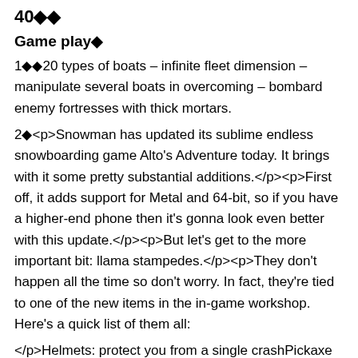40◆◆
Game play◆
1◆◆20 types of boats – infinite fleet dimension – manipulate several boats in overcoming – bombard enemy fortresses with thick mortars.
2◆<p>Snowman has updated its sublime endless snowboarding game Alto's Adventure today. It brings with it some pretty substantial additions.</p><p>First off, it adds support for Metal and 64-bit, so if you have a higher-end phone then it's gonna look even better with this update.</p><p>But let's get to the more important bit: llama stampedes.</p><p>They don't happen all the time so don't worry. In fact, they're tied to one of the new items in the in-game workshop. Here's a quick list of them all:
</p>Helmets: protect you from a single crashPickaxe Chasm Rescue: saves you after falling into a chasmLlama Horn: a blast from this horn will cause a llama stampedeLlama Horn Strength: increases the number of llamas in each stampede Wingsuit Timer: